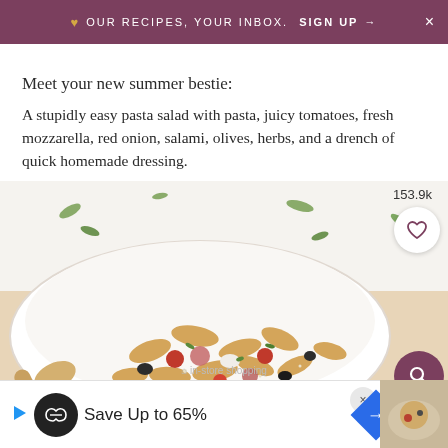❤ OUR RECIPES, YOUR INBOX. SIGN UP → ×
Meet your new summer bestie:
A stupidly easy pasta salad with pasta, juicy tomatoes, fresh mozzarella, red onion, salami, olives, herbs, and a drench of quick homemade dressing.
[Figure (photo): A white bowl filled with rotini pasta salad containing tomatoes, olives, salami, mozzarella and herbs, with a wooden spoon. Number 153.9k displayed with a heart button and a purple magnifying glass button overlay.]
Save Up to 65%